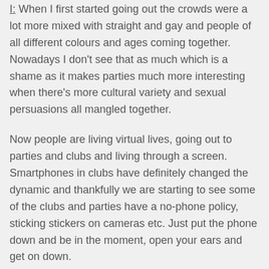I: When I first started going out the crowds were a lot more mixed with straight and gay and people of all different colours and ages coming together. Nowadays I don't see that as much which is a shame as it makes parties much more interesting when there's more cultural variety and sexual persuasions all mangled together.
Now people are living virtual lives, going out to parties and clubs and living through a screen. Smartphones in clubs have definitely changed the dynamic and thankfully we are starting to see some of the clubs and parties have a no-phone policy, sticking stickers on cameras etc. Just put the phone down and be in the moment, open your ears and get on down.
At the end of the day, people are still going out for the same reasons, with the same intentions: